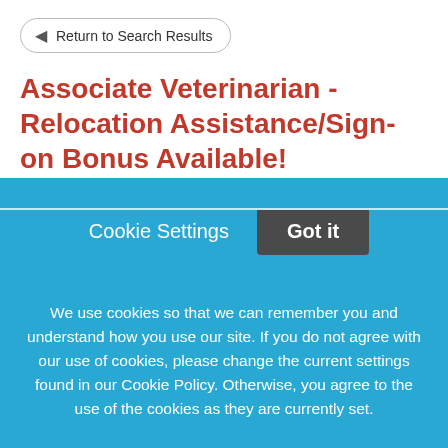Return to Search Results
Associate Veterinarian -Relocation Assistance/Sign-on Bonus Available!
Magnolia Veterinary Hospital is looking for an Emergency Associate Veterinarian to support our fast-growing needs! Magnolia Veterinary Hospital is a multi-doctor practice providing cutting-edge medicine & surgical
Cookie Settings   Got it
We use cookies so that we can remember you and understand how you use our site. If you do not agree with our use of cookies, please change the current settings found in our Cookie Policy. Otherwise, you agree to the use of the cookies as they are currently set.